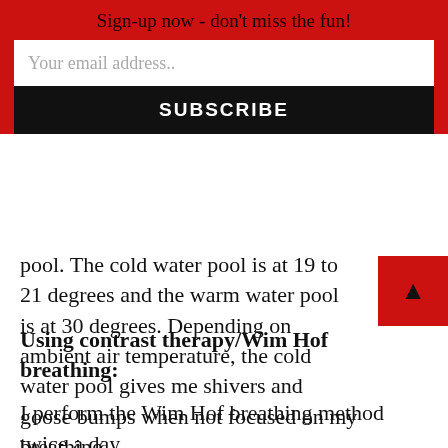Sign-up now - don't miss the fun!
pool. The cold water pool is at 19 to 21 degrees and the warm water pool is at 30 degrees. Depending on ambient air temperature, the cold water pool gives me shivers and goose bumps when not focused on my breathing.
Using contrast therapy/Wim Hof breathing:
I perform the Wim Hof breathing method twice a day.